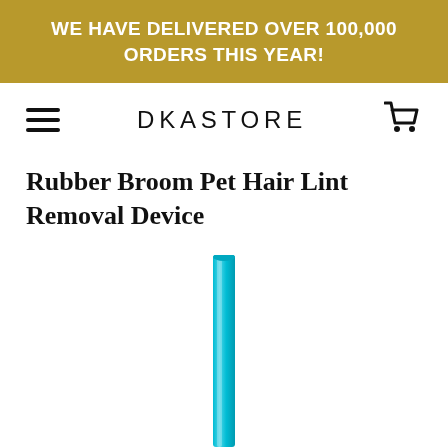WE HAVE DELIVERED OVER 100,000 ORDERS THIS YEAR!
DKASTORE
Rubber Broom Pet Hair Lint Removal Device
[Figure (photo): Partial view of a teal/cyan colored rubber broom handle extending vertically, cropped at the bottom of the page.]